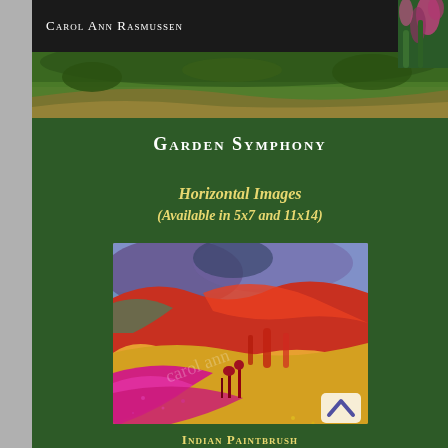Carol Ann Rasmussen
Garden Symphony
Horizontal Images (Available in 5x7 and 11x14)
[Figure (photo): Abstract alcohol ink painting with vivid colors — magenta, yellow, red, orange, blue/purple — depicting a stylized landscape with Indian Paintbrush flowers. Watermark reads 'carol ann' diagonally. A scroll-to-top chevron button appears bottom right.]
Indian Paintbrush